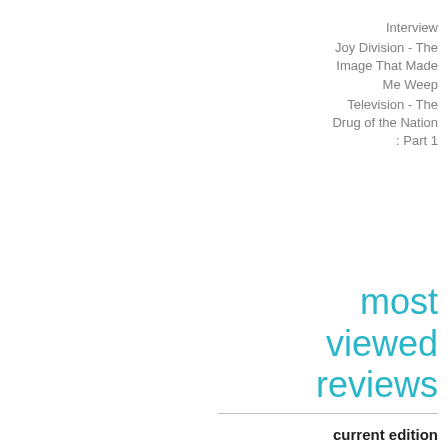Interview
Joy Division - The Image That Made Me Weep
Television - The Drug of the Nation : Part 1
most viewed reviews
current edition
Hurrah! - David Jensen 08.12.82
Paolo Nutini - Last Night in the